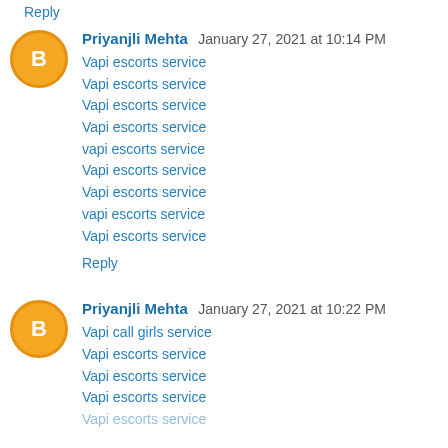Reply
Priyanjli Mehta  January 27, 2021 at 10:14 PM
Vapi escorts service
Vapi escorts service
Vapi escorts service
Vapi escorts service
vapi escorts service
Vapi escorts service
Vapi escorts service
vapi escorts service
Vapi escorts service
Reply
Priyanjli Mehta  January 27, 2021 at 10:22 PM
Vapi call girls service
Vapi escorts service
Vapi escorts service
Vapi escorts service
Vapi escorts service